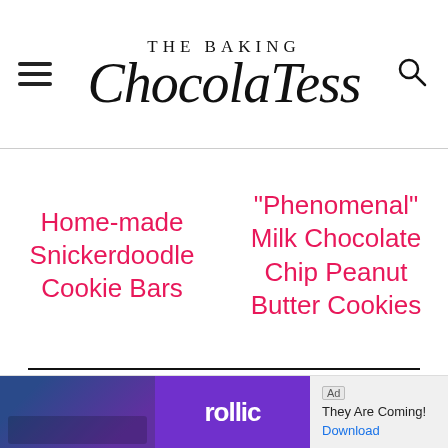THE BAKING ChocolaTess
Home-made Snickerdoodle Cookie Bars
"Phenomenal" Milk Chocolate Chip Peanut Butter Cookies
AS SEEN IN
[Figure (logo): Yum logo (orange circle), Parade logo (serif text), BuzzFeed logo (red background white text)]